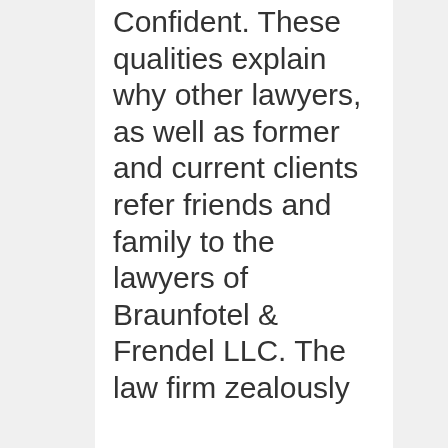Confident. These qualities explain why other lawyers, as well as former and current clients refer friends and family to the lawyers of Braunfotel & Frendel LLC. The law firm zealously